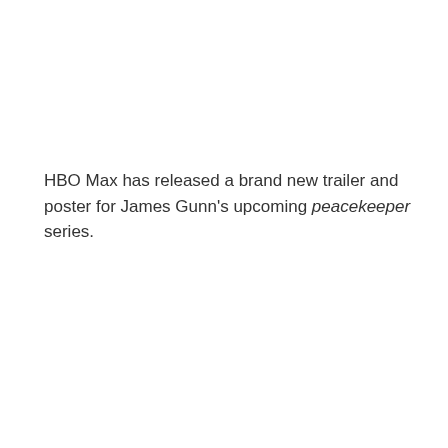HBO Max has released a brand new trailer and poster for James Gunn's upcoming peacekeeper series.